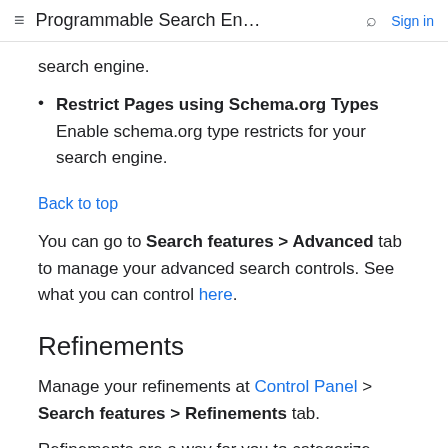≡ Programmable Search En... 🔍 Sign in
search engine.
Restrict Pages using Schema.org Types Enable schema.org type restricts for your search engine.
Back to top
You can go to Search features > Advanced tab to manage your advanced search controls. See what you can control here.
Refinements
Manage your refinements at Control Panel > Search features > Refinements tab.
Refinements are a way for you to categorize sites by topics. For example, if you have a bicycling search engine,